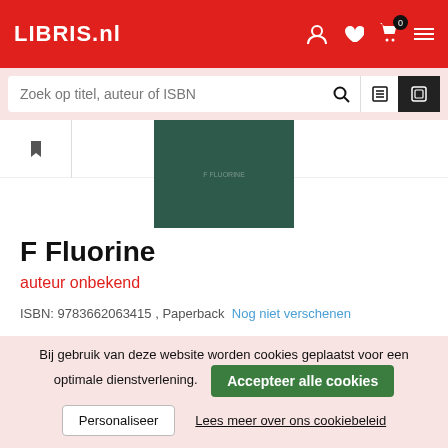LIBRIS.nl
Zoek op titel, auteur of ISBN
[Figure (illustration): Book cover with dark green background for 'F Fluorine']
F Fluorine
auteur onbekend
ISBN: 9783662063415 , Paperback  Nog niet verschenen
€ 87,95
Op verlanglijst
Bij gebruik van deze website worden cookies geplaatst voor een optimale dienstverlening.
Accepteer alle cookies
Personaliseer
Lees meer over ons cookiebeleid